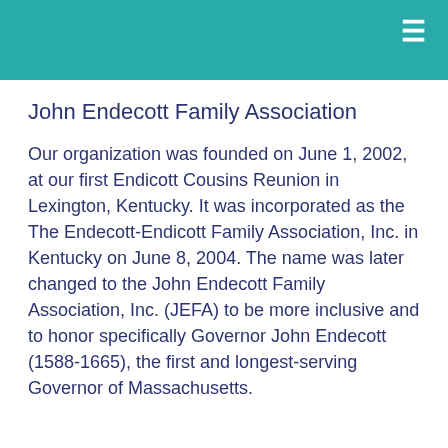≡
John Endecott Family Association
Our organization was founded on June 1, 2002, at our first Endicott Cousins Reunion in Lexington, Kentucky. It was incorporated as the The Endecott-Endicott Family Association, Inc. in Kentucky on June 8, 2004. The name was later changed to the John Endecott Family Association, Inc. (JEFA) to be more inclusive and to honor specifically Governor John Endecott (1588-1665), the first and longest-serving Governor of Massachusetts.